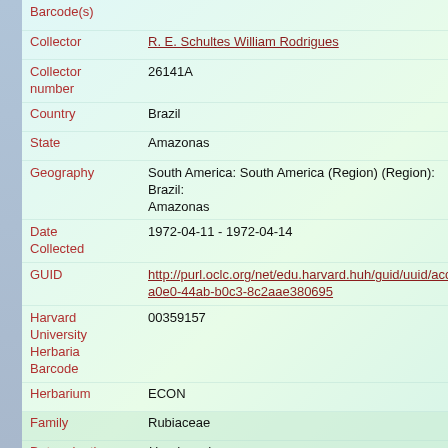| Field | Value |
| --- | --- |
| Barcode(s) |  |
| Collector | R. E. Schultes William Rodrigues |
| Collector number | 26141A |
| Country | Brazil |
| State | Amazonas |
| Geography | South America: South America (Region) (Region): Brazil: Amazonas |
| Date Collected | 1972-04-11 - 1972-04-14 |
| GUID | http://purl.oclc.org/net/edu.harvard.huh/guid/uuid/acco a0e0-44ab-b0c3-8c2aae380695 |
| Harvard University Herbaria Barcode | 00359157 |
| Herbarium | ECON |
| Family | Rubiaceae |
| Determination | Henriquezia |
| Determination Remarks | [is label name] |
| Family | Rubiaceae |
| Determination | Henriquezia tiraquantha f. Ducke |